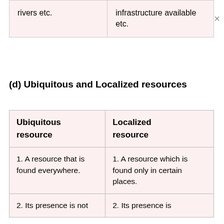|  |  |
| --- | --- |
| rivers etc. | infrastructure available etc. |
(d) Ubiquitous and Localized resources
| Ubiquitous resource | Localized resource |
| --- | --- |
| 1. A resource that is found everywhere. | 1. A resource which is found only in certain places. |
| 2. Its presence is not | 2. Its presence is |